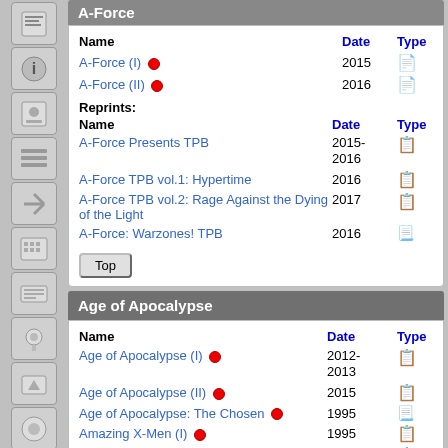A-Force
| Name | Date | Type |
| --- | --- | --- |
| A-Force (I) | 2015 |  |
| A-Force (II) | 2016 |  |
Reprints:
| Name | Date | Type |
| --- | --- | --- |
| A-Force Presents TPB | 2015-2016 |  |
| A-Force TPB vol.1: Hypertime | 2016 |  |
| A-Force TPB vol.2: Rage Against the Dying of the Light | 2017 |  |
| A-Force: Warzones! TPB | 2016 |  |
Age of Apocalypse
| Name | Date | Type |
| --- | --- | --- |
| Age of Apocalypse (I) | 2012-2013 |  |
| Age of Apocalypse (II) | 2015 |  |
| Age of Apocalypse: The Chosen | 1995 |  |
| Amazing X-Men (I) | 1995 |  |
| Astonishing X-Men (I) | 1995 |  |
| Blink | 2001 |  |